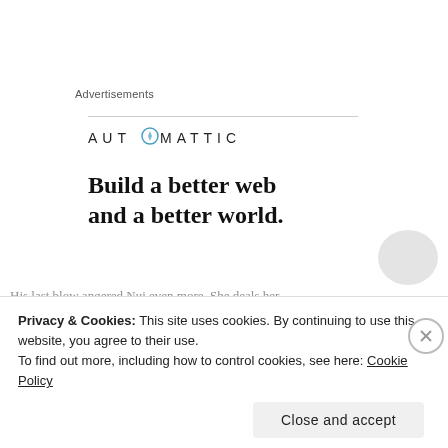Advertisements
[Figure (logo): Automattic logo with compass-style 'O' icon and uppercase spaced lettering]
Build a better web and a better world.
His last blow angered Nui even more. She deals her
Privacy & Cookies: This site uses cookies. By continuing to use this website, you agree to their use.
To find out more, including how to control cookies, see here: Cookie Policy
Close and accept